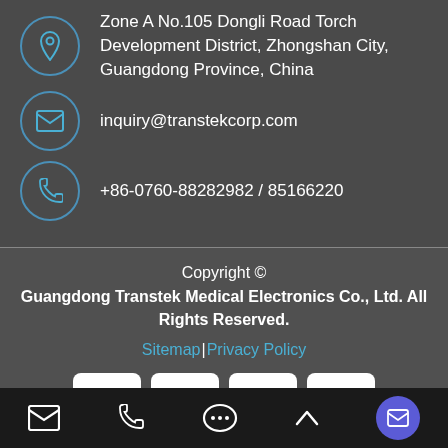Zone A No.105 Dongli Road Torch Development District, Zhongshan City, Guangdong Province, China
inquiry@transtekcorp.com
+86-0760-88282982 / 85166220
Copyright ©
Guangdong Transtek Medical Electronics Co., Ltd. All Rights Reserved.
Sitemap|Privacy Policy
[Figure (other): Social media icons for Facebook, Twitter, Pinterest, and LinkedIn]
Email | Phone | Chat | Up | Mail icons in bottom bar